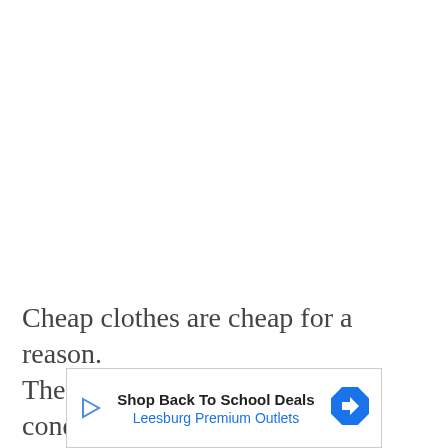Cheap clothes are cheap for a reason.
They do not last long, and their condition
[Figure (other): Advertisement banner: 'Shop Back To School Deals' from Leesburg Premium Outlets, with a play triangle icon on the left and a blue diamond navigation arrow on the right.]